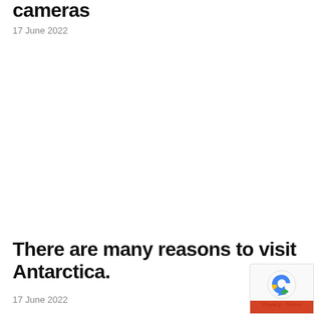cameras
17 June 2022
There are many reasons to visit Antarctica.
17 June 2022